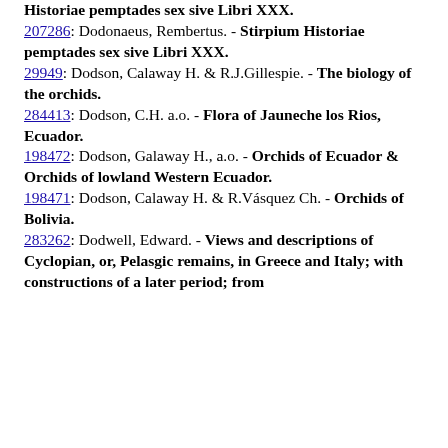207286: Dodonaeus, Rembertus. - Stirpium Historiae pemptades sex sive Libri XXX.
29949: Dodson, Calaway H. & R.J.Gillespie. - The biology of the orchids.
284413: Dodson, C.H. a.o. - Flora of Jauneche los Rios, Ecuador.
198472: Dodson, Galaway H., a.o. - Orchids of Ecuador & Orchids of lowland Western Ecuador.
198471: Dodson, Calaway H. & R.Vásquez Ch. - Orchids of Bolivia.
283262: Dodwell, Edward. - Views and descriptions of Cyclopian, or, Pelasgic remains, in Greece and Italy; with constructions of a later period; from